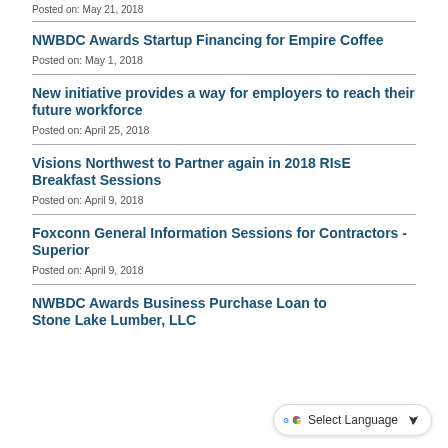Posted on: May 21, 2018
NWBDC Awards Startup Financing for Empire Coffee
Posted on: May 1, 2018
New initiative provides a way for employers to reach their future workforce
Posted on: April 25, 2018
Visions Northwest to Partner again in 2018 RIsE Breakfast Sessions
Posted on: April 9, 2018
Foxconn General Information Sessions for Contractors - Superior
Posted on: April 9, 2018
NWBDC Awards Business Purchase Loan to Stone Lake Lumber, LLC